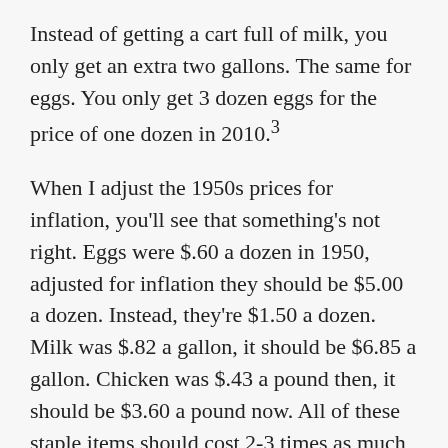Instead of getting a cart full of milk, you only get an extra two gallons. The same for eggs. You only get 3 dozen eggs for the price of one dozen in 2010.³
When I adjust the 1950s prices for inflation, you'll see that something's not right. Eggs were $.60 a dozen in 1950, adjusted for inflation they should be $5.00 a dozen. Instead, they're $1.50 a dozen. Milk was $.82 a gallon, it should be $6.85 a gallon. Chicken was $.43 a pound then, it should be $3.60 a pound now. All of these staple items should cost 2-3 times as much as they do.³
This price discrepancy only pertains to basic food items such as: meats, eggs, milk, etc. You know, the type of stuff you would buy from a local farmer. Processed foods, however, they're more expensive than ever. Their prices increased by 1,300% or more. While, at the same time, the amount of money the